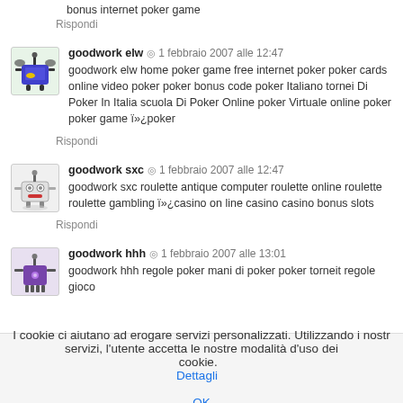bonus internet poker game
Rispondi
[Figure (illustration): Avatar icon for goodwork elw - cartoon robot/character on green background]
goodwork elw · 1 febbraio 2007 alle 12:47
goodwork elw home poker game free internet poker poker cards online video poker poker bonus code poker Italiano tornei Di Poker In Italia scuola Di Poker Online poker Virtuale online poker poker game ï»¿poker
Rispondi
[Figure (illustration): Avatar icon for goodwork sxc - cartoon robot face on grey background]
goodwork sxc · 1 febbraio 2007 alle 12:47
goodwork sxc roulette antique computer roulette online roulette roulette gambling ï»¿casino on line casino casino bonus slots
Rispondi
[Figure (illustration): Avatar icon for goodwork hhh - cartoon character on purple background]
goodwork hhh · 1 febbraio 2007 alle 13:01
goodwork hhh regole poker mani di poker poker torneit regole gioco
I cookie ci aiutano ad erogare servizi personalizzati. Utilizzando i nostri servizi, l'utente accetta le nostre modalità d'uso dei cookie. Dettagli OK